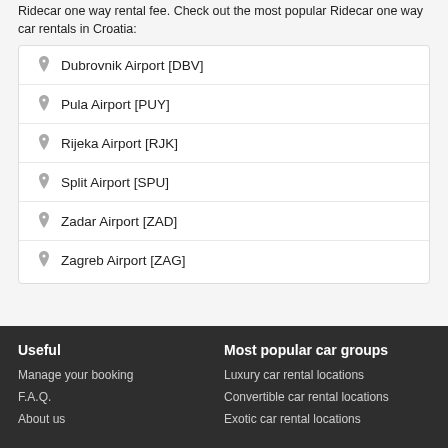Ridecar one way rental fee. Check out the most popular Ridecar one way car rentals in Croatia:
Dubrovnik Airport [DBV]
Pula Airport [PUY]
Rijeka Airport [RJK]
Split Airport [SPU]
Zadar Airport [ZAD]
Zagreb Airport [ZAG]
Useful
Most popular car groups
Manage your booking
F.A.Q.
About us
Luxury car rental locations
Convertible car rental locations
Exotic car rental locations